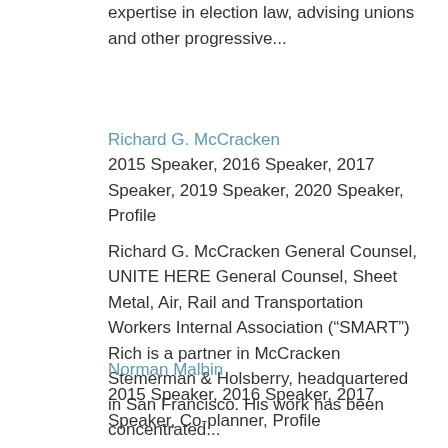expertise in election law, advising unions and other progressive...
Richard G. McCracken
2015 Speaker, 2016 Speaker, 2017 Speaker, 2019 Speaker, 2020 Speaker, Profile
Richard G. McCracken General Counsel, UNITE HERE General Counsel, Sheet Metal, Air, Rail and Transportation Workers Internal Association (“SMART”) Rich is a partner in McCracken Stemerman & Holsberry, headquartered in San Francisco. His work has been concentrated...
Norman Malbin
2015 Speaker, 2016 Speaker, 2017 Speaker, Co-planner, Profile